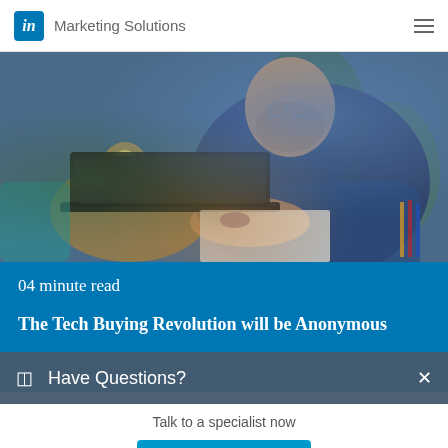in Marketing Solutions
[Figure (photo): Man with glasses and tattoos wearing a blue knit sweater, sitting at a desk with a laptop, holding a pen with hand on chin in a thoughtful pose, with plants and warm lighting in the background]
04 minute read
The Tech Buying Revolution will be Anonymous
Have Questions?
Talk to a specialist now
Chat now